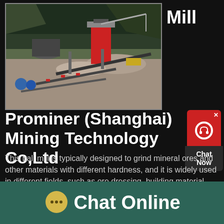Mill
[Figure (photo): Aerial/elevated view of an open-air mineral processing or mining facility with machinery, conveyors, crushers, and stockpiles of gravel/rock materials surrounded by forested hills.]
Prominer (Shanghai) Mining Technology Co,Ltd
This ball mill is typically designed to grind mineral ores and other materials with different hardness, and it is widely used in different fields, such as ore dressing, building material field, chemical industry, etc Due to
Chat Online